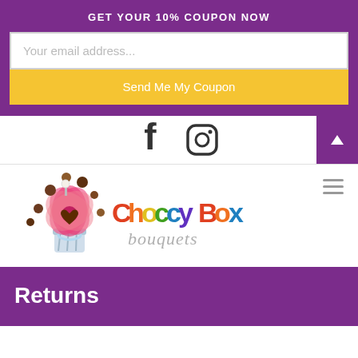GET YOUR 10% COUPON NOW
Your email address...
Send Me My Coupon
[Figure (logo): Facebook and Instagram social media icons]
[Figure (logo): Choccy Box Bouquets logo with chocolate bouquet illustration and colorful text]
Returns